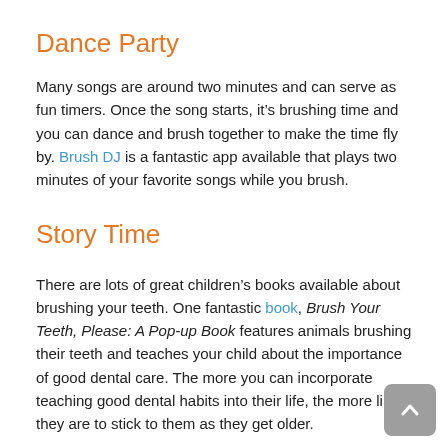Dance Party
Many songs are around two minutes and can serve as fun timers. Once the song starts, it’s brushing time and you can dance and brush together to make the time fly by. Brush DJ is a fantastic app available that plays two minutes of your favorite songs while you brush.
Story Time
There are lots of great children’s books available about brushing your teeth. One fantastic book, Brush Your Teeth, Please: A Pop-up Book features animals brushing their teeth and teaches your child about the importance of good dental care. The more you can incorporate teaching good dental habits into their life, the more likely they are to stick to them as they get older.